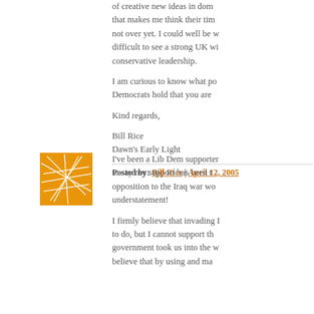of creative new ideas in dom that makes me think their tim not over yet. I could well be w difficult to see a strong UK wi conservative leadership.
I am curious to know what po Democrats hold that you are
Kind regards,
Bill Rice
Dawn's Early Light
Posted by: Bill Rice | April 12, 2005
[Figure (illustration): Orange square avatar with a geometric web/network pattern in white lines]
I've been a Lib Dem supporter to say my support has been t opposition to the Iraq war wo understatement!
I firmly believe that invading I to do, but I cannot support th government took us into the w believe that by using and ma